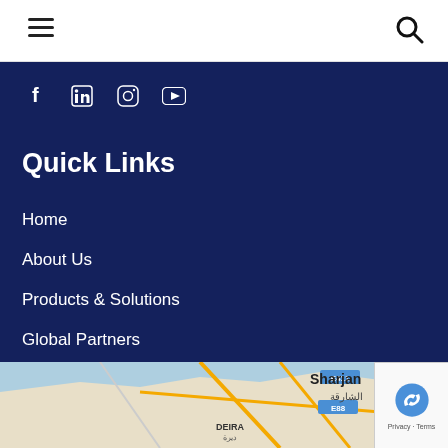Navigation header with hamburger menu and search icon
[Figure (other): Social media icons row: Facebook, LinkedIn, Instagram, YouTube on dark blue background]
Quick Links
Home
About Us
Products & Solutions
Global Partners
Contact
[Figure (map): Google Map showing Sharjah (الشارقة) and Deira area with roads E411 and E88]